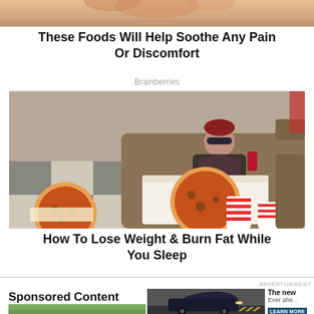[Figure (photo): Partial top image, cropped, showing what appears to be a person or animal with orange/red tones.]
These Foods Will Help Soothe Any Pain Or Discomfort
Brainberries
[Figure (photo): Woman with sunglasses sitting on a couch wearing red and white striped socks, eating pizza from a box. Another pizza on the floor beside her.]
How To Lose Weight & Burn Fat While You Sleep
ADVERTISEMENT
Sponsored Content
[Figure (photo): Advertisement image showing a dark sports car on a road.]
The new
Ever ahe
LEARN MORE